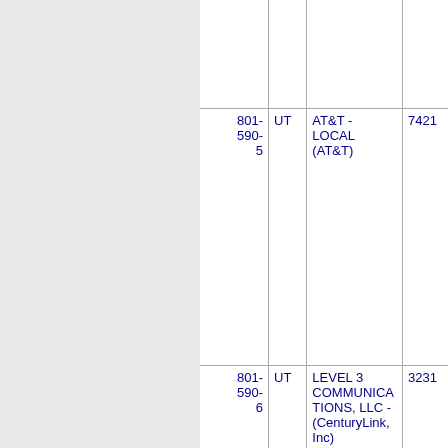| Phone | State | Company Name | Number |
| --- | --- | --- | --- |
|  |  |  |  |
| 801-590-5 | UT | AT&T - LOCAL (AT&T) | 7421 |
| 801-590-6 | UT | LEVEL 3 COMMUNICATIONS, LLC - (CenturyLink, Inc) | 3231 |